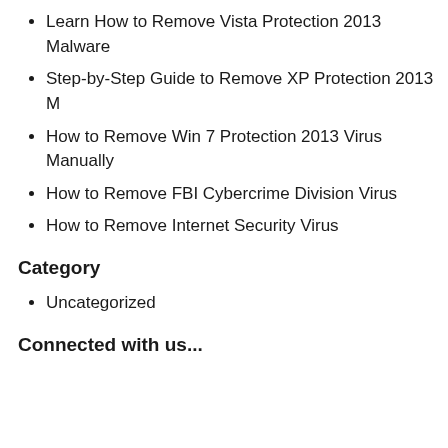Learn How to Remove Vista Protection 2013 Malware
Step-by-Step Guide to Remove XP Protection 2013 M
How to Remove Win 7 Protection 2013 Virus Manually
How to Remove FBI Cybercrime Division Virus
How to Remove Internet Security Virus
Category
Uncategorized
Connected with us...